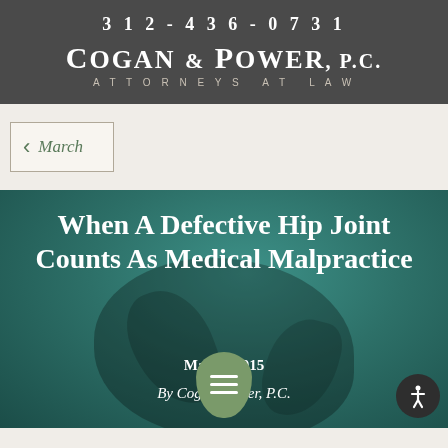312-436-0731
Cogan & Power, P.C.
ATTORNEYS AT LAW
March
[Figure (photo): Article banner image with teal/green background showing a decorative plant or flower silhouette, overlaid with the article title text]
When A Defective Hip Joint Counts As Medical Malpractice
March 2015
By Cogan & Power, P.C.